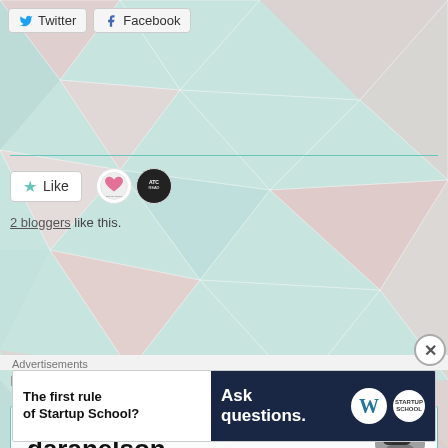[Figure (screenshot): Geometric triangular polygon background pattern in teal/mint and pink pastel colors]
Twitter  Facebook
Like  2 bloggers like this.
December 19, 2017
PUBLISHED BY
daranelson
Am I a reader? Absolutely - it's my passion, my
Advertisements
The first rule of Startup School?  Ask questions.